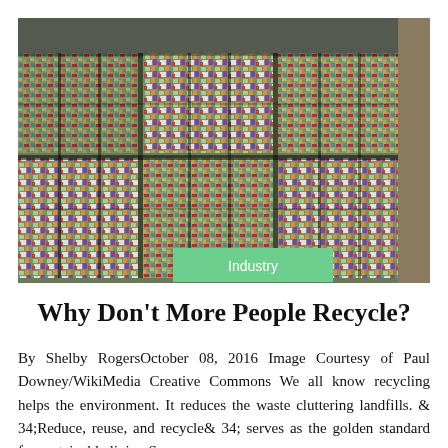[Figure (photo): Large bales of crushed and compacted aluminum cans stacked in a recycling facility warehouse. The bales are tightly compressed blocks showing colorful crushed cans. A green badge reading 'Industry' overlays the bottom center of the image.]
Why Don't More People Recycle?
By Shelby RogersOctober 08, 2016 Image Courtesy of Paul Downey/WikiMedia Creative Commons We all know recycling helps the environment. It reduces the waste cluttering landfills. & 34;Reduce, reuse, and recycle& 34; serves as the golden standard for sustainable living.So